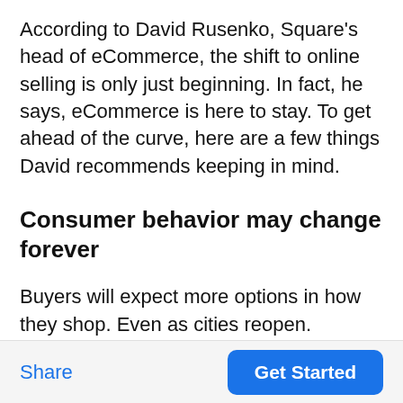According to David Rusenko, Square's head of eCommerce, the shift to online selling is only just beginning. In fact, he says, eCommerce is here to stay. To get ahead of the curve, here are a few things David recommends keeping in mind.
Consumer behavior may change forever
Buyers will expect more options in how they shop. Even as cities reopen.